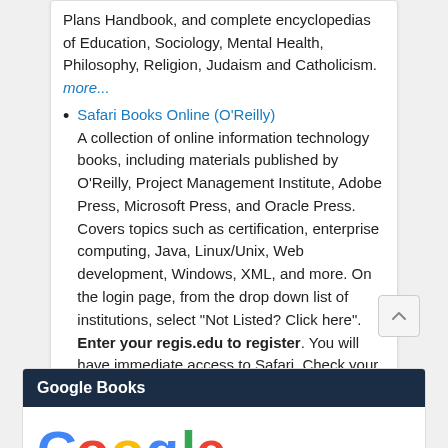Plans Handbook, and complete encyclopedias of Education, Sociology, Mental Health, Philosophy, Religion, Judaism and Catholicism.
more...
Safari Books Online (O'Reilly) — A collection of online information technology books, including materials published by O'Reilly, Project Management Institute, Adobe Press, Microsoft Press, and Oracle Press. Covers topics such as certification, enterprise computing, Java, Linux/Unix, Web development, Windows, XML, and more. On the login page, from the drop down list of institutions, select "Not Listed? Click here". Enter your regis.edu to register. You will have immediate access to Safari. Check your inbox for a “Welcome to O'Reilly” email to access additional features (check your spam filter if you do not receive the email).
more...
Google Books
[Figure (logo): Google Books logo — the word 'Google' in multicolor letters (blue G, red o, yellow o, blue g, green l, red e) with 'Books' in small gray text below the second 'o']